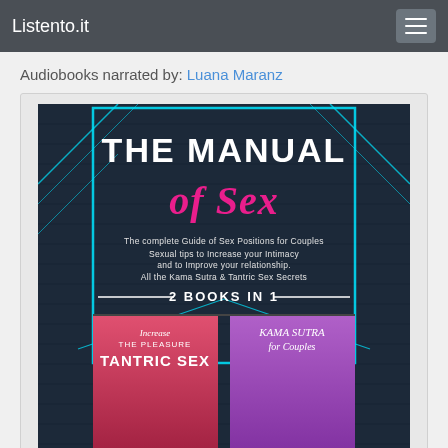Listento.it
Audiobooks narrated by: Luana Maranz
[Figure (photo): Book cover for 'The Manual of Sex' - 2 Books in 1, showing a dark brick wall background with neon lights, subtitle 'The complete Guide of Sex Positions for Couples Sexual tips to Increase your Intimacy and to Improve your relationship. All the Kama Sutra & Tantric Sex Secrets', with two sub-book covers: 'Increase The Pleasure - Tantric Sex' on the left and 'Kama Sutra for Couples' on the right.]